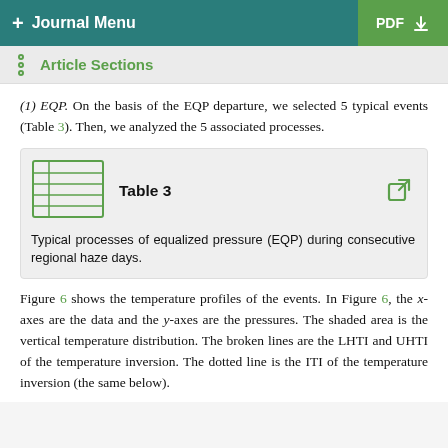+ Journal Menu   PDF ↓
Article Sections
(1) EQP. On the basis of the EQP departure, we selected 5 typical events (Table 3). Then, we analyzed the 5 associated processes.
Table 3
Typical processes of equalized pressure (EQP) during consecutive regional haze days.
Figure 6 shows the temperature profiles of the events. In Figure 6, the x-axes are the data and the y-axes are the pressures. The shaded area is the vertical temperature distribution. The broken lines are the LHTI and UHTI of the temperature inversion. The dotted line is the ITI of the temperature inversion (the same below).